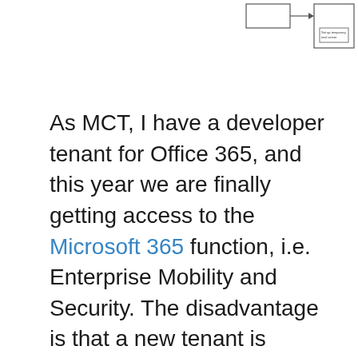[Figure (schematic): Partial diagram visible in top-right corner showing boxes connected with arrows, one box labeled 'Set up temporary mail server']
As MCT, I have a developer tenant for Office 365, and this year we are finally getting access to the Microsoft 365 function, i.e. Enterprise Mobility and Security. The disadvantage is that a new tenant is required and so a migration is pending. But at the same time, a lot of things have to be set up from scratch. I take the opportunity to write a series of blog posts directly from this.